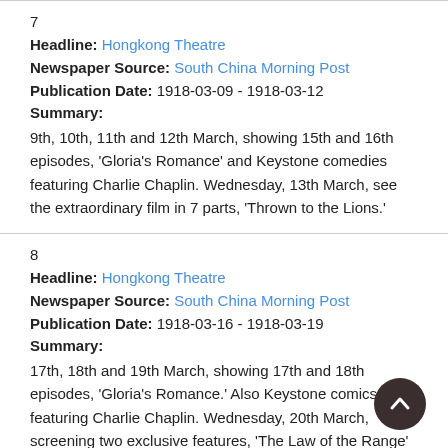7
Headline: Hongkong Theatre
Newspaper Source: South China Morning Post
Publication Date: 1918-03-09 - 1918-03-12
Summary:
9th, 10th, 11th and 12th March, showing 15th and 16th episodes, 'Gloria's Romance' and Keystone comedies featuring Charlie Chaplin. Wednesday, 13th March, see the extraordinary film in 7 parts, 'Thrown to the Lions.'
8
Headline: Hongkong Theatre
Newspaper Source: South China Morning Post
Publication Date: 1918-03-16 - 1918-03-19
Summary:
17th, 18th and 19th March, showing 17th and 18th episodes, 'Gloria's Romance.' Also Keystone comics featuring Charlie Chaplin. Wednesday, 20th March, screening two exclusive features, 'The Law of the Range' and 'A Daughter of the Jungle.'